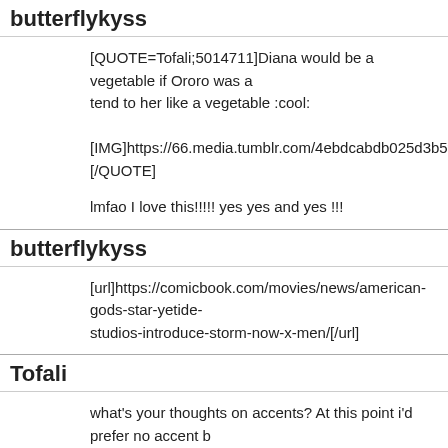butterflykyss
[QUOTE=Tofali;5014711]Diana would be a vegetable if Ororo was a tend to her like a vegetable :cool:

[IMG]https://66.media.tumblr.com/4ebdcabdb025d3b5f3355bb2f687
[/QUOTE]

lmfao I love this!!!!! yes yes and yes !!!
butterflykyss
[url]https://comicbook.com/movies/news/american-gods-star-yetide-studios-introduce-storm-now-x-men/[/url]
Tofali
what's your thoughts on accents? At this point i'd prefer no accent b actresses and even Chadwick's BP affecting an accent just makes m

[QUOTE=butterflykyss;5014764][url]https://comicbook.com/movies/ star-yetide-badaki-why-marvel-studios-introduce-storm-now-x-men/